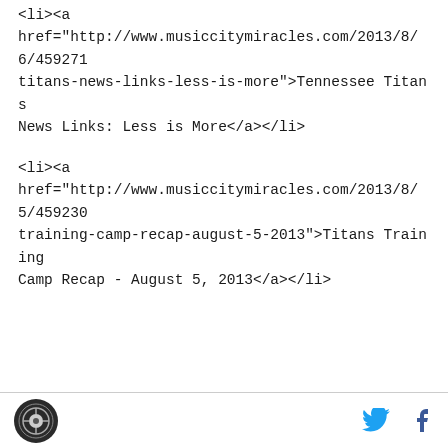<li><a href="http://www.musiccitymiracles.com/2013/8/6/4592711/titans-news-links-less-is-more">Tennessee Titans News Links: Less is More</a></li>
<li><a href="http://www.musiccitymiracles.com/2013/8/5/4592309/training-camp-recap-august-5-2013">Titans Training Camp Recap - August 5, 2013</a></li>
Footer with logo and social icons (Twitter, Facebook)